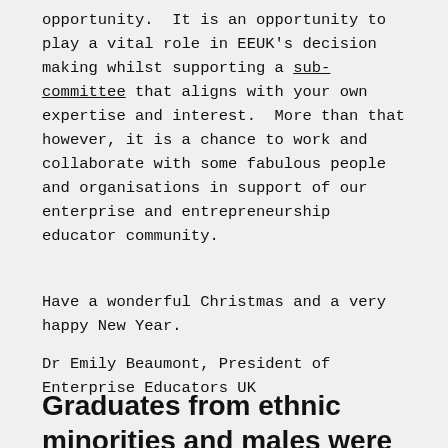opportunity.  It is an opportunity to play a vital role in EEUK's decision making whilst supporting a sub-committee that aligns with your own expertise and interest.  More than that however, it is a chance to work and collaborate with some fabulous people and organisations in support of our enterprise and entrepreneurship educator community.
Have a wonderful Christmas and a very happy New Year.
Dr Emily Beaumont, President of Enterprise Educators UK
Graduates from ethnic minorities and males were more likely to be running their own businesses – Jisc's new graduate dashboards